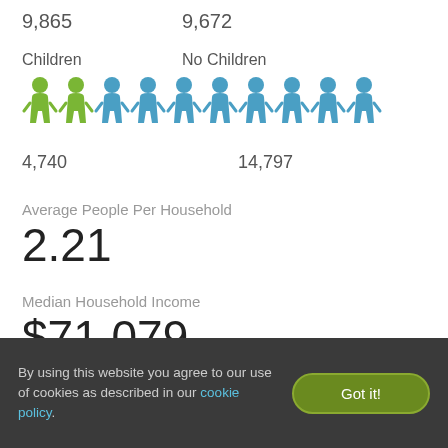9,865    9,672
[Figure (infographic): Pictogram showing Children (green figures, 4,740) and No Children (blue figures, 14,797) household counts. Two green person icons and eight blue person icons arranged in a row.]
4,740    14,797
Average People Per Household
2.21
Median Household Income
$71,079
By using this website you agree to our use of cookies as described in our cookie policy.